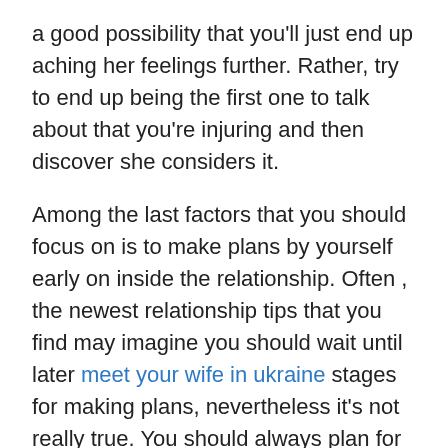a good possibility that you'll just end up aching her feelings further. Rather, try to end up being the first one to talk about that you're injuring and then discover she considers it.
Among the last factors that you should focus on is to make plans by yourself early on inside the relationship. Often , the newest relationship tips that you find may imagine you should wait until later meet your wife in ukraine stages for making plans, nevertheless it's not really true. You should always plan for yourself from the beginning, mainly because it's a smart way to avoid wasting time and energy on a new person that may not commit to you.
Finally, if the new position advice for second possibilities assumes you need to avoid love-making until a clear stage with the relationship has evolved into something more